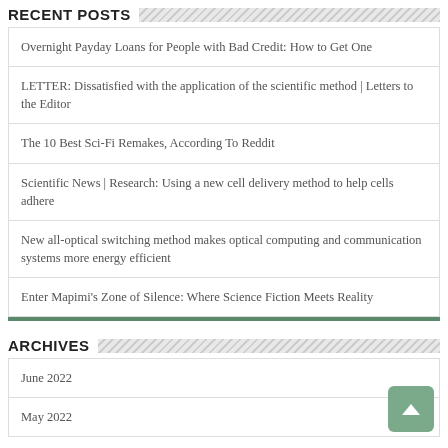RECENT POSTS
Overnight Payday Loans for People with Bad Credit: How to Get One
LETTER: Dissatisfied with the application of the scientific method | Letters to the Editor
The 10 Best Sci-Fi Remakes, According To Reddit
Scientific News | Research: Using a new cell delivery method to help cells adhere
New all-optical switching method makes optical computing and communication systems more energy efficient
Enter Mapimi's Zone of Silence: Where Science Fiction Meets Reality
ARCHIVES
June 2022
May 2022